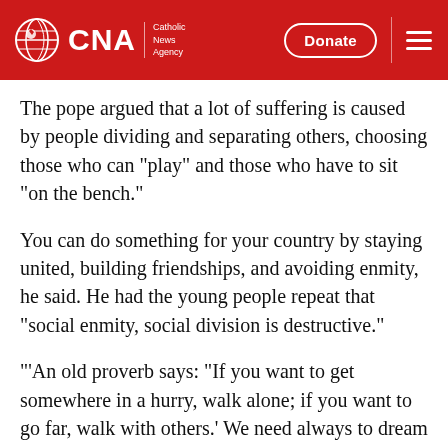CNA | Catholic News Agency — Donate
The pope argued that a lot of suffering is caused by people dividing and separating others, choosing those who can "play" and those who have to sit "on the bench."
You can do something for your country by staying united, building friendships, and avoiding enmity, he said. He had the young people repeat that "social enmity, social division is destructive."
'An old proverb says: "If you want to get somewhere in a hurry, walk alone; if you want to go far, walk with others.' We need always to dream together, as you are doing today. Dream